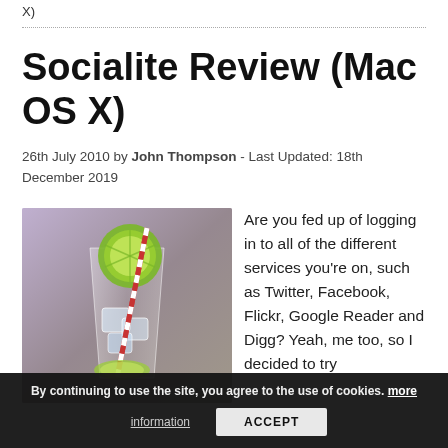X)
Socialite Review (Mac OS X)
26th July 2010 by John Thompson - Last Updated: 18th December 2019
[Figure (photo): Photo of a cocktail drink in a tall glass with ice, a lime slice, and a red and white striped straw, on a purple/grey background.]
Are you fed up of logging in to all of the different services you're on, such as Twitter, Facebook, Flickr, Google Reader and Digg? Yeah, me too, so I decided to try
By continuing to use the site, you agree to the use of cookies. more information